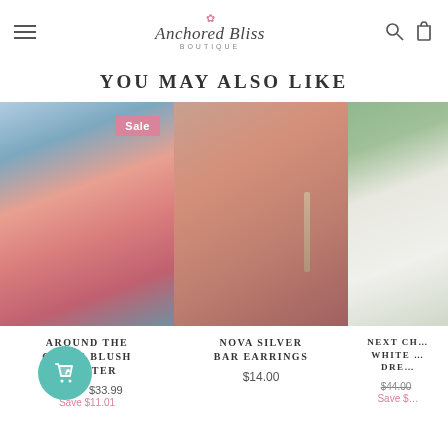Anchored Bliss Boutique - navigation header with hamburger menu, logo, search and bag icons
YOU MAY ALSO LIKE
[Figure (photo): Woman wearing a blush/rose pink sweater, outdoors, with a Sale badge in the top right corner]
AROUND THE CLOCK BLUSH SWEATER
$44.99  $33.99  Save $11.01
[Figure (photo): Close-up of a woman's ear wearing a long silver bar drop earring]
NOVA SILVER BAR EARRINGS
$14.00
[Figure (photo): Woman wearing a white tiered midi dress, standing outdoors]
NEXT CHAPTER WHITE DRESS
$44.00  Save $...